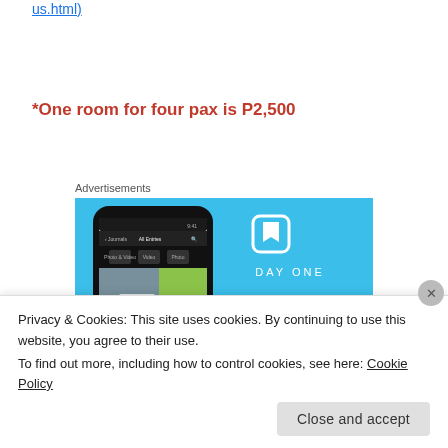us.html)
*One room for four pax is P2,500
Advertisements
[Figure (illustration): DayOne app advertisement banner with phone mockup showing a journal app UI and the text 'DAY ONE - Your Journal for life' on a light blue background]
Privacy & Cookies: This site uses cookies. By continuing to use this website, you agree to their use.
To find out more, including how to control cookies, see here: Cookie Policy